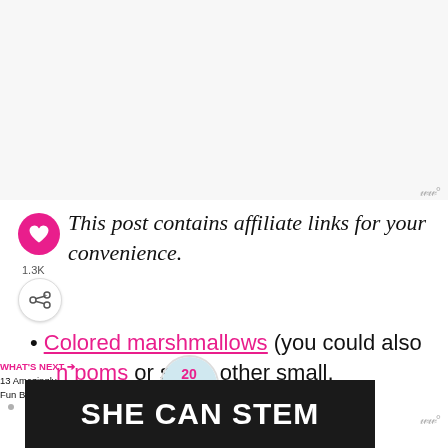[Figure (other): Large white/light grey image placeholder area at top of page]
This post contains affiliate links for your convenience.
Colored marshmallows (you could also use pom poms or some other small, lightweight object)
[Figure (other): What's Next promo: 13 Amazingly Fun Back to... with circular thumbnail image]
[Figure (other): Bottom black banner reading SHE CAN STEM]